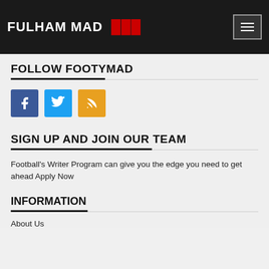FULHAM MAD
FOLLOW FOOTYMAD
[Figure (other): Social media icons: Facebook (blue), Twitter (blue), RSS (orange)]
SIGN UP AND JOIN OUR TEAM
Football's Writer Program can give you the edge you need to get ahead Apply Now
INFORMATION
About Us